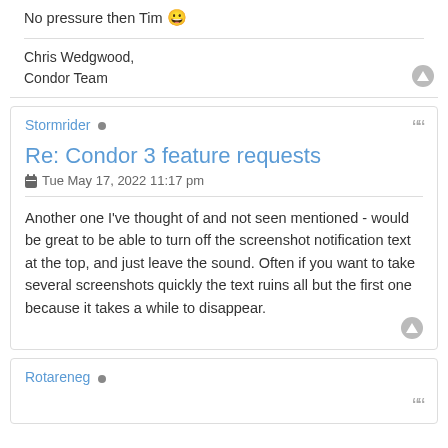No pressure then Tim 😀
Chris Wedgwood,
Condor Team
Stormrider
Re: Condor 3 feature requests
Tue May 17, 2022 11:17 pm
Another one I've thought of and not seen mentioned - would be great to be able to turn off the screenshot notification text at the top, and just leave the sound. Often if you want to take several screenshots quickly the text ruins all but the first one because it takes a while to disappear.
Rotareneg